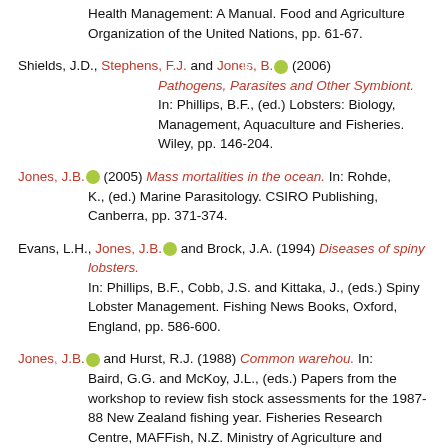Health Management: A Manual. Food and Agriculture Organization of the United Nations, pp. 61-67.
Shields, J.D., Stephens, F.J. and Jones, B. (2006) Pathogens, Parasites and Other Symbiont. In: Phillips, B.F., (ed.) Lobsters: Biology, Management, Aquaculture and Fisheries. Wiley, pp. 146-204.
Jones, J.B. (2005) Mass mortalities in the ocean. In: Rohde, K., (ed.) Marine Parasitology. CSIRO Publishing, Canberra, pp. 371-374.
Evans, L.H., Jones, J.B. and Brock, J.A. (1994) Diseases of spiny lobsters. In: Phillips, B.F., Cobb, J.S. and Kittaka, J., (eds.) Spiny Lobster Management. Fishing News Books, Oxford, England, pp. 586-600.
Jones, J.B. and Hurst, R.J. (1988) Common warehou. In: Baird, G.G. and McKoy, J.L., (eds.) Papers from the workshop to review fish stock assessments for the 1987-88 New Zealand fishing year. Fisheries Research Centre, MAFFish, N.Z. Ministry of Agriculture and Fisheries, pp. 67-73.
Jones, J.B. (1988) Jack mackerel. In: Baird, G.G. and